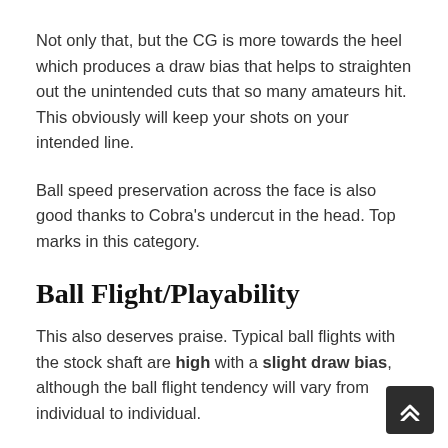Not only that, but the CG is more towards the heel which produces a draw bias that helps to straighten out the unintended cuts that so many amateurs hit. This obviously will keep your shots on your intended line.
Ball speed preservation across the face is also good thanks to Cobra's undercut in the head. Top marks in this category.
Ball Flight/Playability
This also deserves praise. Typical ball flights with the stock shaft are high with a slight draw bias, although the ball flight tendency will vary from individual to individual.
Indeed, the F-MAX iron is effortlessly easy to hit. I imagine golfers with a naturally low ball flight and